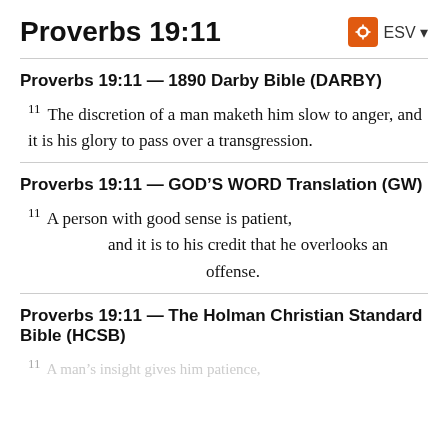Proverbs 19:11
Proverbs 19:11 — 1890 Darby Bible (DARBY)
11 The discretion of a man maketh him slow to anger, and it is his glory to pass over a transgression.
Proverbs 19:11 — GOD’S WORD Translation (GW)
11 A person with good sense is patient, and it is to his credit that he overlooks an offense.
Proverbs 19:11 — The Holman Christian Standard Bible (HCSB)